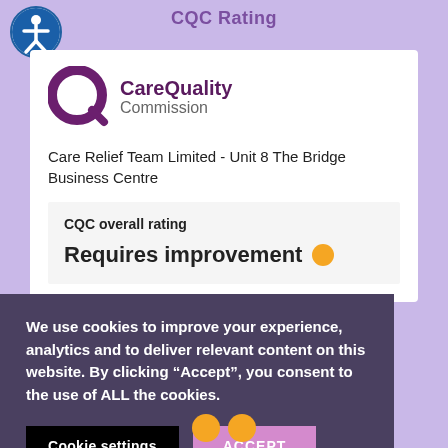CQC Rating
[Figure (logo): CQC accessibility icon - circular icon with person symbol]
[Figure (logo): Care Quality Commission logo with stylized Q mark]
Care Relief Team Limited - Unit 8 The Bridge Business Centre
CQC overall rating
Requires improvement
We use cookies to improve your experience, analytics and to deliver relevant content on this website. By clicking “Accept”, you consent to the use of ALL the cookies.
Cookie settings
ACCEPT